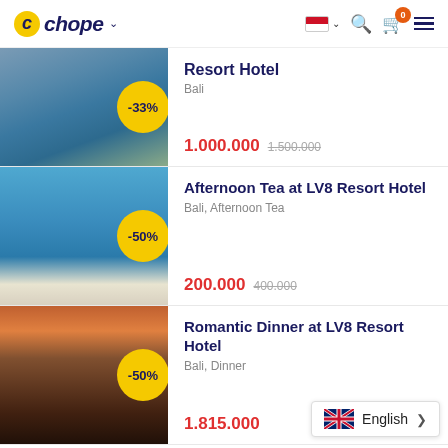Chope — navigation header with logo, Indonesia flag, search, cart (0), and menu
[Figure (screenshot): Hotel pool and loungers at a resort — partially visible listing card]
Resort Hotel
Bali
1.000.000  1.500.000
[Figure (photo): Afternoon tea spread with tiered cake stand, pastries, teapot and cup against ocean backdrop]
Afternoon Tea at LV8 Resort Hotel
Bali, Afternoon Tea
200.000  400.000
[Figure (photo): Romantic dinner table set on a pier at sunset with colorful sky]
Romantic Dinner at LV8 Resort Hotel
Bali, Dinner
1.815.000
English